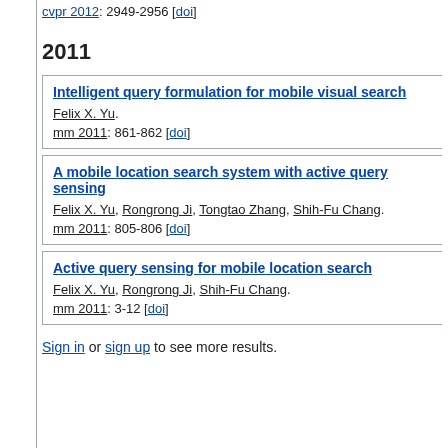cvpr 2012: 2949-2956 [doi]
2011
Intelligent query formulation for mobile visual search. Felix X. Yu. mm 2011: 861-862 [doi]
A mobile location search system with active query sensing. Felix X. Yu, Rongrong Ji, Tongtao Zhang, Shih-Fu Chang. mm 2011: 805-806 [doi]
Active query sensing for mobile location search. Felix X. Yu, Rongrong Ji, Shih-Fu Chang. mm 2011: 3-12 [doi]
Sign in or sign up to see more results.